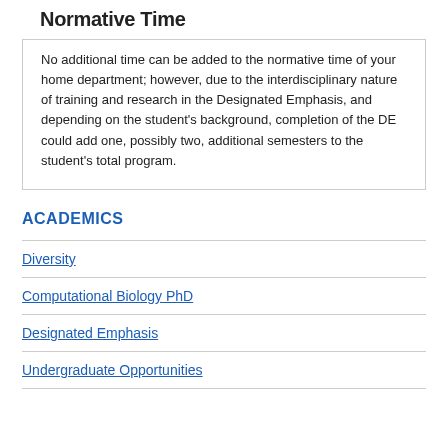Normative Time
No additional time can be added to the normative time of your home department; however, due to the interdisciplinary nature of training and research in the Designated Emphasis, and depending on the student's background, completion of the DE could add one, possibly two, additional semesters to the student's total program.
ACADEMICS
Diversity
Computational Biology PhD
Designated Emphasis
Undergraduate Opportunities